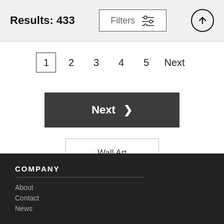Results: 433
Filters
1 2 3 4 5 Next
Next >
Wall Art
COMPANY
About
Contact
News